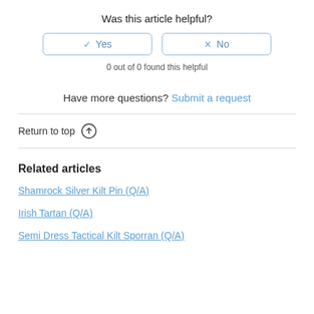Was this article helpful?
0 out of 0 found this helpful
Have more questions? Submit a request
Return to top ↑
Related articles
Shamrock Silver Kilt Pin (Q/A)
Irish Tartan (Q/A)
Semi Dress Tactical Kilt Sporran (Q/A)